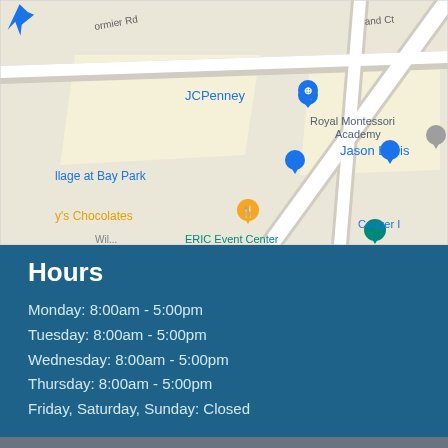[Figure (map): Google Maps screenshot showing area with JCPenney, Village at Bay Park, Jason Louis, Royal Montessori Academy, Conger I, y's Chocolates, ERIC Event Center, and road intersections including Formier Rd and other streets.]
Hours
Monday: 8:00am - 5:00pm
Tuesday: 8:00am - 5:00pm
Wednesday: 8:00am - 5:00pm
Thursday: 8:00am - 5:00pm
Friday, Saturday, Sunday: Closed